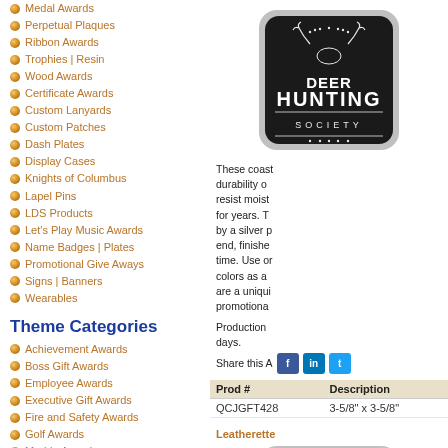Medal Awards
Perpetual Plaques
Ribbon Awards
Trophies | Resin
Wood Awards
Certificate Awards
Custom Lanyards
Custom Patches
Dash Plates
Display Cases
Knights of Columbus
Lapel Pins
LDS Products
Let's Play Music Awards
Name Badges | Plates
Promotional Give Aways
Signs | Banners
Wearables
Theme Categories
Achievement Awards
Boss Gift Awards
Employee Awards
Executive Gift Awards
Fire and Safety Awards
Golf Awards
Marble Awards
Patriotic Awards
Religious Awards
Sales Awards
Secretary Gift Awards
Shape Awards
Sport Trophy Awards
Helpful Information
[Figure (photo): Black leatherette coaster with silver edge, Deer Hunting Society logo engraved in white]
These coasters combine the durability of... resist moisture for years. The edge finished by a silver plate end, finished nicely each time. Use our full colors as a... are a unique... promotional...
Production days.
Share this A
| Prod # | Description |
| --- | --- |
| QCJGFT428 | 3-5/8" x 3-5/8" |
Leatherette
[Figure (photo): Brown leatherette coaster with silver edge, Scooters Cafe logo engraved]
These coasters combine the durability of... resist moisture for years. The edge finished by a silver plate end, finished nicely each time. Use our full colors as a... are a unique... promotional...
Production days.